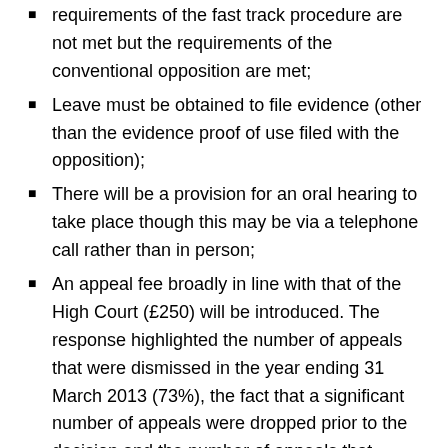requirements of the fast track procedure are not met but the requirements of the conventional opposition are met;
Leave must be obtained to file evidence (other than the evidence proof of use filed with the opposition);
There will be a provision for an oral hearing to take place though this may be via a telephone call rather than in person;
An appeal fee broadly in line with that of the High Court (£250) will be introduced. The response highlighted the number of appeals that were dismissed in the year ending 31 March 2013 (73%), the fact that a significant number of appeals were dropped prior to the decision and the number of appeals that appeared to have little merit as justification for the appeal fee. The Rules won't require the fee to be refundable but it will